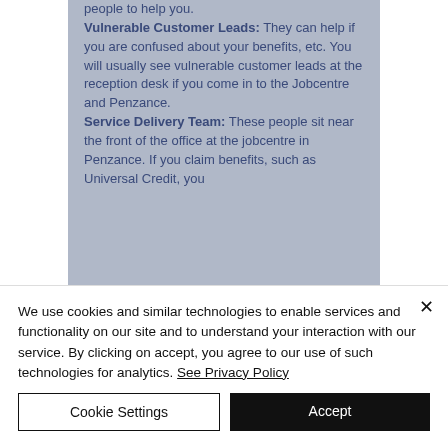people to help you.
Vulnerable Customer Leads: They can help if you are confused about your benefits, etc. You will usually see vulnerable customer leads at the reception desk if you come in to the Jobcentre and Penzance.
Service Delivery Team: These people sit near the front of the office at the jobcentre in Penzance. If you claim benefits, such as Universal Credit, you
We use cookies and similar technologies to enable services and functionality on our site and to understand your interaction with our service. By clicking on accept, you agree to our use of such technologies for analytics. See Privacy Policy